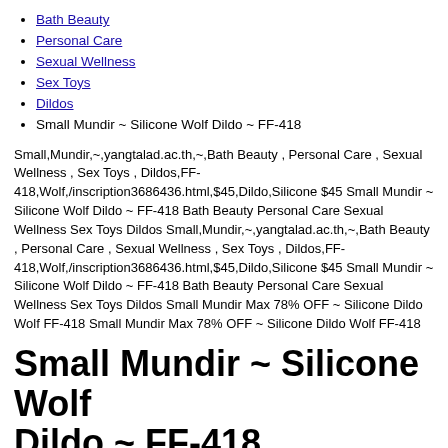Bath Beauty
Personal Care
Sexual Wellness
Sex Toys
Dildos
Small Mundir ~ Silicone Wolf Dildo ~ FF-418
Small,Mundir,~,yangtalad.ac.th,~,Bath Beauty , Personal Care , Sexual Wellness , Sex Toys , Dildos,FF-418,Wolf,/inscription3686436.html,$45,Dildo,Silicone $45 Small Mundir ~ Silicone Wolf Dildo ~ FF-418 Bath Beauty Personal Care Sexual Wellness Sex Toys Dildos Small,Mundir,~,yangtalad.ac.th,~,Bath Beauty , Personal Care , Sexual Wellness , Sex Toys , Dildos,FF-418,Wolf,/inscription3686436.html,$45,Dildo,Silicone $45 Small Mundir ~ Silicone Wolf Dildo ~ FF-418 Bath Beauty Personal Care Sexual Wellness Sex Toys Dildos Small Mundir Max 78% OFF ~ Silicone Dildo Wolf FF-418 Small Mundir Max 78% OFF ~ Silicone Dildo Wolf FF-418
Small Mundir ~ Silicone Wolf Dildo ~ FF-418